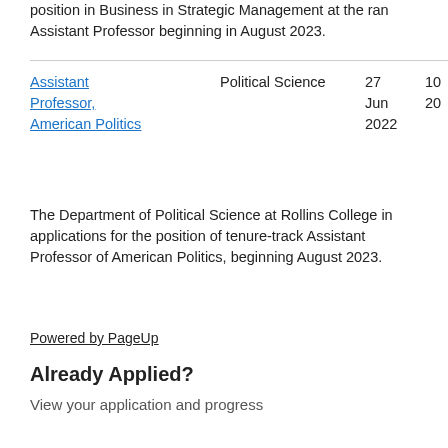position in Business in Strategic Management at the rank of Assistant Professor beginning in August 2023.
| Position | Department | Date |  |
| --- | --- | --- | --- |
| Assistant Professor, American Politics | Political Science | 27 Jun 2022 | 10 20 |
The Department of Political Science at Rollins College invites applications for the position of tenure-track Assistant Professor of American Politics, beginning August 2023.
Powered by PageUp
Already Applied?
View your application and progress
Sign In